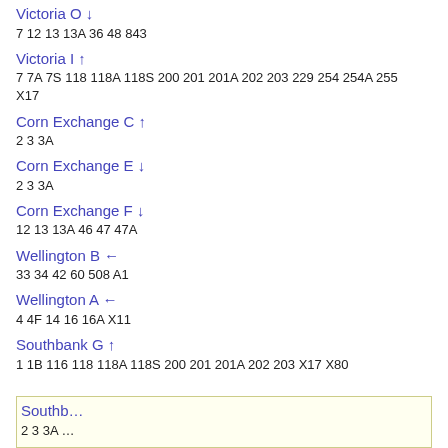Victoria O ↓
7  12  13  13A  36  48  843
Victoria I ↑
7  7A  7S  118  118A  118S  200  201  201A  202  203  229  254  254A  255  X17
Corn Exchange C ↑
2  3  3A
Corn Exchange E ↓
2  3  3A
Corn Exchange F ↓
12  13  13A  46  47  47A
Wellington B ←
33  34  42  60  508  A1
Wellington A ←
4  4F  14  16  16A  X11
Southbank G ↑
1  1B  116  118  118A  118S  200  201  201A  202  203  X17  X80
Southb…
2  3  3A …